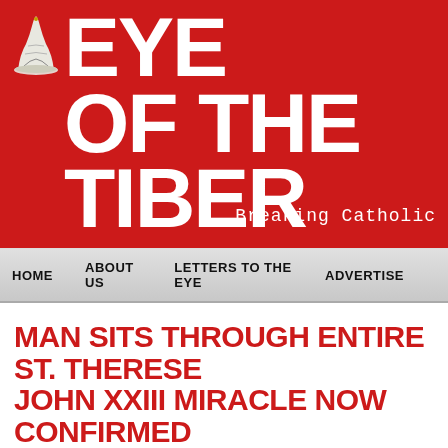[Figure (logo): Eye of the Tiber website header with red background, pope hat illustration, large white bold text 'EYE OF THE TIBER' and tagline 'Breaking Catholic']
HOME   ABOUT US   LETTERS TO THE EYE   ADVERTISE
MAN SITS THROUGH ENTIRE ST. THERESE JOHN XXIII MIRACLE NOW CONFIRMED
JULY 25, 2013 BY ADMIN
FILED UNDER UNCATEGORIZED, VATICAN